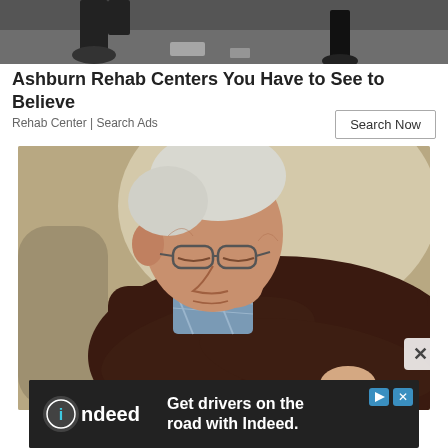[Figure (photo): Top partial image showing feet/shoes on pavement, cropped at top of page]
Ashburn Rehab Centers You Have to See to Believe
Rehab Center | Search Ads
Search Now
[Figure (photo): Elderly man with white hair and glasses sleeping in a chair, wearing dark brown knit sweater over plaid shirt, head drooped to side]
Get drivers on the road with Indeed.
[Figure (logo): Indeed logo - white text on dark background with circular 'i' icon]